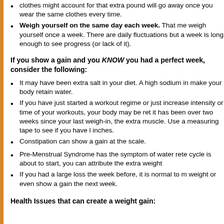Wear the same clothing every time you weigh. The extra pound that clothes might account for that extra pound will go away once you wear the same clothes every time.
Weigh yourself on the same day each week. That means you weigh yourself once a week. There are daily fluctuations but a week is long enough to see progress (or lack of it).
If you show a gain and you KNOW you had a perfect week, consider the following:
It may have been extra salt in your diet. A high sodium intake can make your body retain water.
If you have just started a workout regime or just increased the intensity or time of your workouts, your body may be retaining water. If it has been over two weeks since your last weigh-in, the gain may be extra muscle. Use a measuring tape to see if you have lost inches.
Constipation can show a gain at the scale.
Pre-Menstrual Syndrome has the symptom of water retention. If your cycle is about to start, you can attribute the extra weight to this.
If you had a large loss the week before, it is normal to maintain your weight or even show a gain the next week.
Health Issues that can create a weight gain: